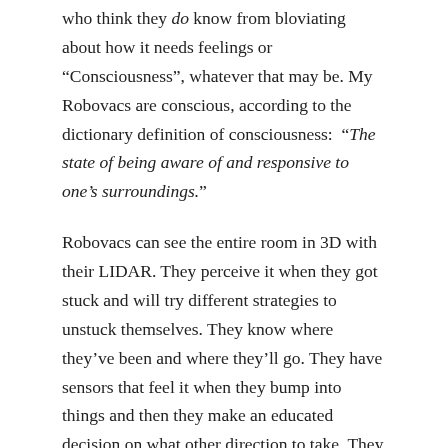who think they do know from bloviating about how it needs feelings or “Consciousness”, whatever that may be. My Robovacs are conscious, according to the dictionary definition of consciousness: “The state of being aware of and responsive to one’s surroundings.”
Robovacs can see the entire room in 3D with their LIDAR. They perceive it when they got stuck and will try different strategies to unstuck themselves. They know where they’ve been and where they’ll go. They have sensors that feel it when they bump into things and then they make an educated decision on what other direction to take. They feel it when they’re low on energy and take the shortest way back to the charger. They are conscious, according to the dictionary.
Yet they do not suffer, when sucking up my toenail clippings. At